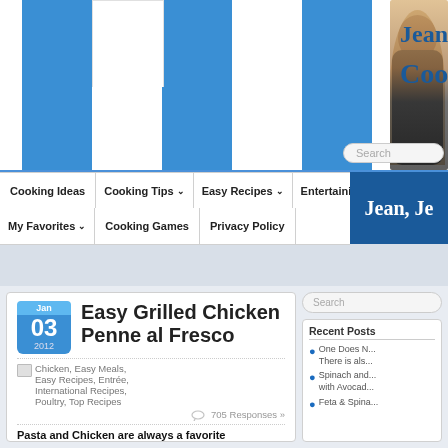[Figure (screenshot): Website header banner with blue and white checkerboard pattern, photo of a woman with curly hair, and partial site title 'Jean, Jea... Cooki...' in blue serif font]
Jean, Jean... Cooking
Search
Cooking Ideas | Cooking Tips | Easy Recipes | Entertaining
My Favorites | Cooking Games | Privacy Policy
Search
Easy Grilled Chicken Penne al Fresco
Jan 03 2012
Chicken, Easy Meals, Easy Recipes, Entrée, International Recipes, Poultry, Top Recipes
705 Responses »
Pasta and Chicken are always a favorite
Recent Posts
One Does N... There is als...
Spinach and... with Avocad...
Feta & Spina...